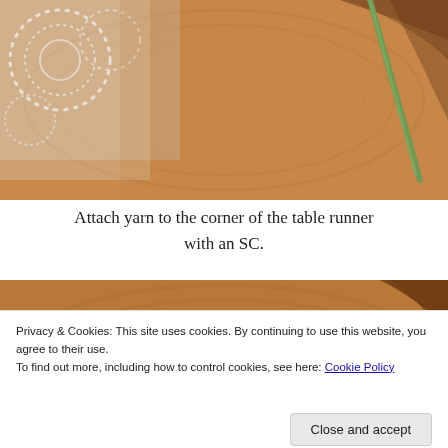[Figure (photo): Photo of crochet doily on a wood slice with a green crochet hook visible]
Attach yarn to the corner of the table runner with an SC.
[Figure (photo): Close-up photo of a wood slice with a decorative cream-colored script text piece reading 'Warming the...']
Privacy & Cookies: This site uses cookies. By continuing to use this website, you agree to their use.
To find out more, including how to control cookies, see here: Cookie Policy
Close and accept